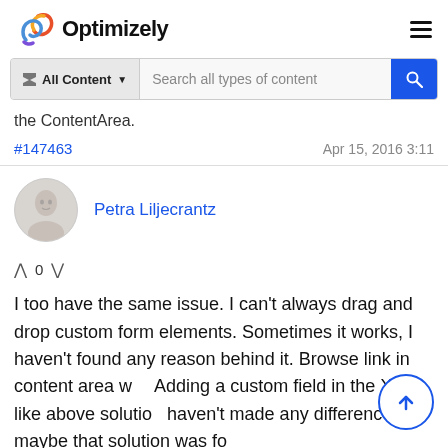Optimizely
the ContentArea.
#147463   Apr 15, 2016 3:11
Petra Liljecrantz
^ 0 v
I too have the same issue. I can't always drag and drop custom form elements. Sometimes it works, I haven't found any reason behind it. Browse link in content area w... Adding a custom field in the XML like above solution haven't made any difference, maybe that solution was for